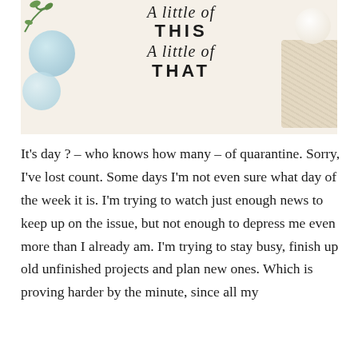[Figure (photo): A decorative photo showing a wooden sign that reads 'A little of THIS A little of THAT' in mixed script and bold lettering, with light blue/teal decorative balls on the left, a white ball and woven texture on the right, and a green twig in the upper left corner. The background is cream/off-white.]
It's day ? – who knows how many – of quarantine. Sorry, I've lost count. Some days I'm not even sure what day of the week it is. I'm trying to watch just enough news to keep up on the issue, but not enough to depress me even more than I already am. I'm trying to stay busy, finish up old unfinished projects and plan new ones. Which is proving harder by the minute, since all my